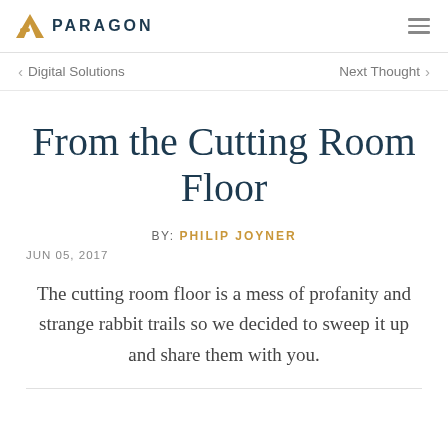PARAGON
< Digital Solutions    Next Thought >
From the Cutting Room Floor
BY: PHILIP JOYNER
JUN 05, 2017
The cutting room floor is a mess of profanity and strange rabbit trails so we decided to sweep it up and share them with you.